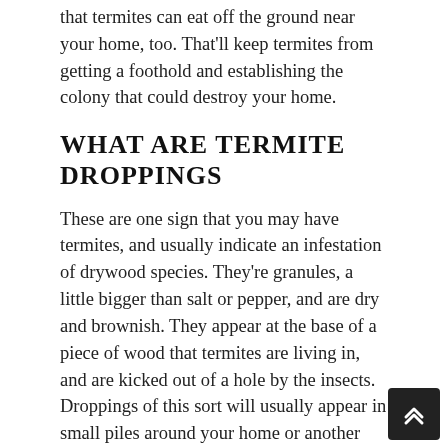that termites can eat off the ground near your home, too. That'll keep termites from getting a foothold and establishing the colony that could destroy your home.
WHAT ARE TERMITE DROPPINGS
These are one sign that you may have termites, and usually indicate an infestation of drywood species. They're granules, a little bigger than salt or pepper, and are dry and brownish. They appear at the base of a piece of wood that termites are living in, and are kicked out of a hole by the insects. Droppings of this sort will usually appear in small piles around your home or another infested area.
TERMITES AND WOOD
Termites love to eat wood, but they don't like to ea...